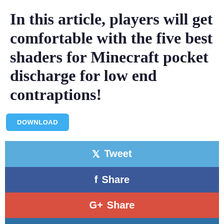In this article, players will get comfortable with the five best shaders for Minecraft pocket discharge for low end contraptions!
DOWNLOAD
[Figure (infographic): Social media share buttons: Tweet (Twitter, light blue), Share (Facebook, dark blue), Share (Google+, red-orange), Share (LinkedIn, blue), Share (Pinterest, dark red)]